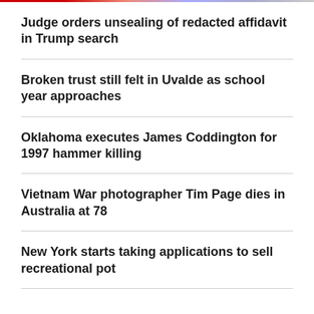Judge orders unsealing of redacted affidavit in Trump search
Broken trust still felt in Uvalde as school year approaches
Oklahoma executes James Coddington for 1997 hammer killing
Vietnam War photographer Tim Page dies in Australia at 78
New York starts taking applications to sell recreational pot